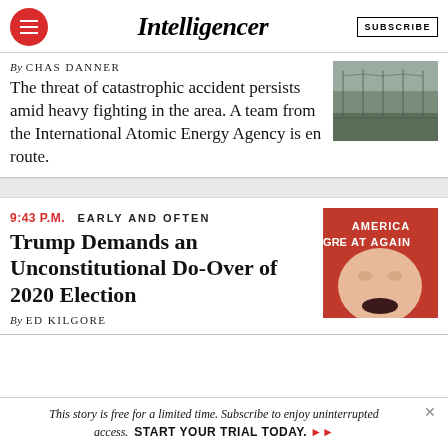Intelligencer | SUBSCRIBE
By CHAS DANNER
The threat of catastrophic accident persists amid heavy fighting in the area. A team from the International Atomic Energy Agency is en route.
[Figure (photo): Aerial/landscape photo of a nuclear plant site area, gray tones]
9:43 P.M.  EARLY AND OFTEN
Trump Demands an Unconstitutional Do-Over of 2020 Election
By ED KILGORE
[Figure (photo): Close-up photo of Donald Trump wearing a red MAGA hat reading AMERICA GREAT AGAIN, mouth open]
This story is free for a limited time. Subscribe to enjoy uninterrupted access.  START YOUR TRIAL TODAY. ▶▶